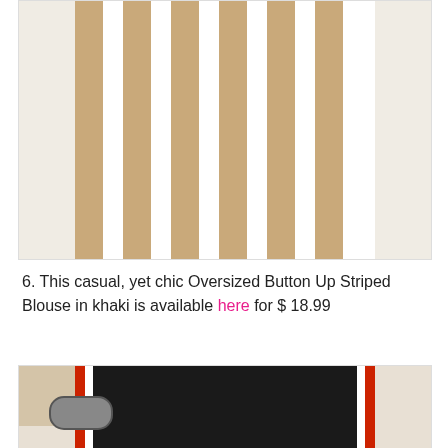[Figure (photo): A khaki and white vertical striped Oversized Button Up Blouse laid flat on a white background, showing front view with buttons and pockets.]
6. This casual, yet chic Oversized Button Up Striped Blouse in khaki is available here for $ 18.99
[Figure (photo): A black shorts with red and white side stripes, shown with tan accessories and sunglasses on a light background.]